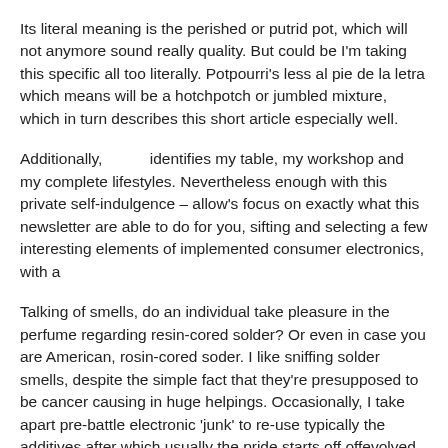Its literal meaning is the perished or putrid pot, which will not anymore sound really quality. But could be I'm taking this specific all too literally. Potpourri's less al pie de la letra which means will be a hotchpotch or jumbled mixture, which in turn describes this short article especially well.
Additionally,           identifies my table, my workshop and my complete lifestyles. Nevertheless enough with this private self-indulgence – allow's focus on exactly what this newsletter are able to do for you, sifting and selecting a few interesting elements of implemented consumer electronics, with a
Talking of smells, do an individual take pleasure in the perfume regarding resin-cored solder? Or even in case you are American, rosin-cored soder. I like sniffing solder smells, despite the simple fact that they're presupposed to be cancer causing in huge helpings. Occasionally, I take apart pre-battle electronic 'junk' to re-use typically the additives after which usually the pride starts off offevolved.
Desoldering the joint with the massive gobby lump of resin